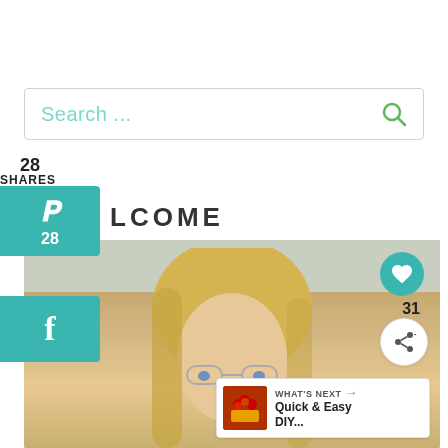[Figure (screenshot): Search bar with 'Search ...' placeholder text in teal color and a green search icon on the right, white background with light border]
28
SHARES
[Figure (screenshot): Teal Pinterest share button showing Pinterest 'P' icon and count of 28]
[Figure (screenshot): Teal Facebook share button showing 'f' icon]
LCOME
[Figure (photo): Photo of a blonde woman wearing glasses in a kitchen setting with white shelves and books in the background]
[Figure (screenshot): Teal heart/like button (circular), share count of 31, and circular share button with share icon]
31
[Figure (screenshot): What's Next banner showing a small food/craft image thumbnail and text 'WHAT'S NEXT → Quick & Easy DIY...']